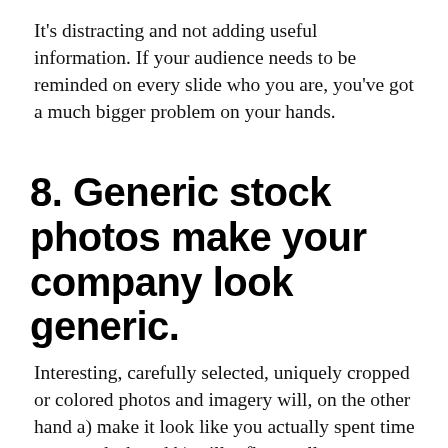It's distracting and not adding useful information. If your audience needs to be reminded on every slide who you are, you've got a much bigger problem on your hands.
8. Generic stock photos make your company look generic.
Interesting, carefully selected, uniquely cropped or colored photos and imagery will, on the other hand a) make it look like you actually spent time on your deck and b) will reflect well on your